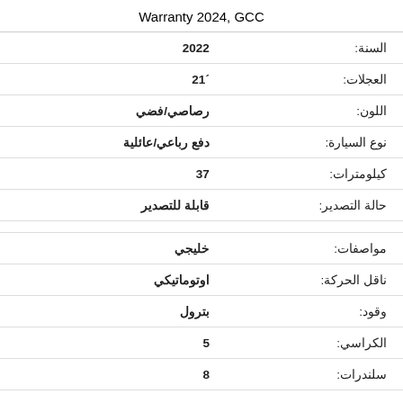Warranty 2024, GCC
| الحقل | القيمة |
| --- | --- |
| السنة: | 2022 |
| العجلات: | 21 ´ |
| اللون: | رصاصي/فضي |
| نوع السيارة: | دفع رباعي/عائلية |
| كيلومترات: | 37 |
| حالة التصدير: | قابلة للتصدير |
|  |  |
| مواصفات: | خليجي |
| ناقل الحركة: | اوتوماتيكي |
| وقود: | بترول |
| الكراسي: | 5 |
| سلندرات: | 8 |